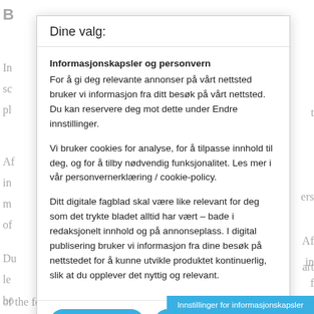B
In
sc
pl
Af
in
m
of
Du
le
bo
Af
in
Dine valg:
Informasjonskapsler og personvern
For å gi deg relevante annonser på vårt nettsted bruker vi informasjon fra ditt besøk på vårt nettsted. Du kan reservere deg mot dette under Endre innstillinger.

Vi bruker cookies for analyse, for å tilpasse innhold til deg, og for å tilby nødvendig funksjonalitet. Les mer i vår personvernerklæring / cookie-policy.

Ditt digitale fagblad skal være like relevant for deg som det trykte bladet alltid har vært – bade i redaksjonelt innhold og på annonseplass. I digital publisering bruker vi informasjon fra dine besøk på nettstedet for å kunne utvikle produktet kontinuerlig, slik at du opplever det nyttig og relevant.
Godta valgte
Innstillinger
of the femur, and their bones app
Innstillinger for informasjonskapsler